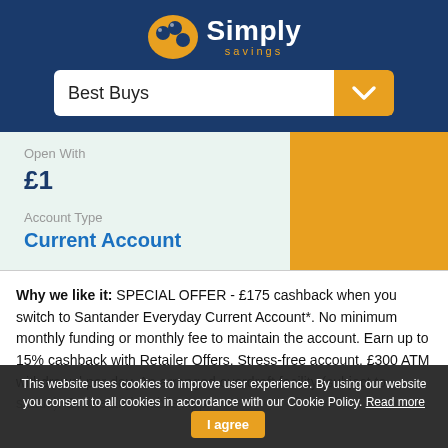[Figure (logo): Simply Savings logo with oval icon containing three circles and text 'Simply savings']
Best Buys
Open With
£1
Account Type
Current Account
Why we like it: SPECIAL OFFER - £175 cashback when you switch to Santander Everyday Current Account*. No minimum monthly funding or monthly fee to maintain the account. Earn up to 15% cashback with Retailer Offers. Stress-free account. £300 ATM withdrawal per day. An arranged overdraft facility (subject to status). Online and Mobile App.
This website uses cookies to improve user experience. By using our website you consent to all cookies in accordance with our Cookie Policy. Read more  I agree